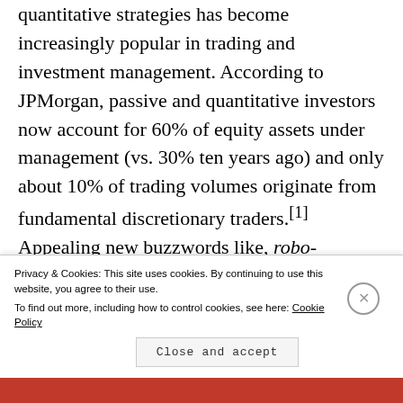quantitative strategies has become increasingly popular in trading and investment management. According to JPMorgan, passive and quantitative investors now account for 60% of equity assets under management (vs. 30% ten years ago) and only about 10% of trading volumes originate from fundamental discretionary traders.[1] Appealing new buzzwords like, robo-advising, artificial intelligence and machine learning stoked the imagination of
Privacy & Cookies: This site uses cookies. By continuing to use this website, you agree to their use.
To find out more, including how to control cookies, see here: Cookie Policy